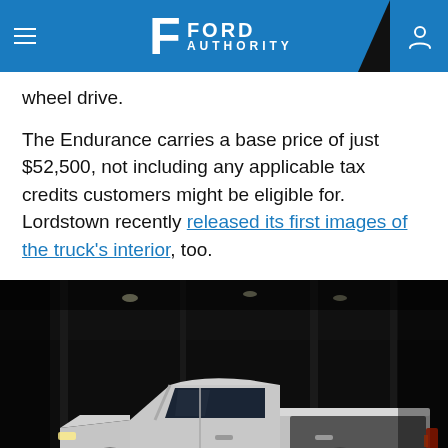Ford Authority
wheel drive.
The Endurance carries a base price of just $52,500, not including any applicable tax credits customers might be eligible for. Lordstown recently released its first images of the truck's interior, too.
[Figure (photo): Side profile of a silver electric pickup truck (Lordstown Endurance) parked inside a dark industrial building/factory. The truck has black accent stripes, gold-colored brake calipers on black wheels, and a sleek modern design.]